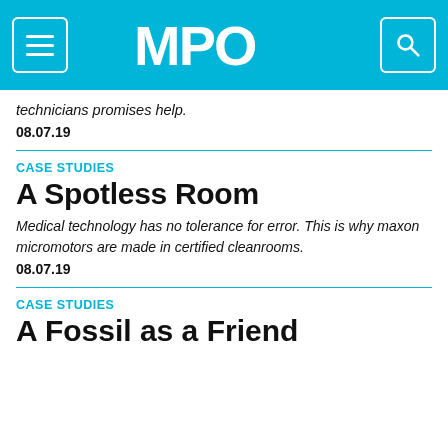[Figure (logo): MPO website header with hamburger menu icon on left, MPO logo in center, search icon on right, all on cyan/blue background]
technicians promises help.
08.07.19
CASE STUDIES
A Spotless Room
Medical technology has no tolerance for error. This is why maxon micromotors are made in certified cleanrooms.
08.07.19
CASE STUDIES
A Fossil as a Friend